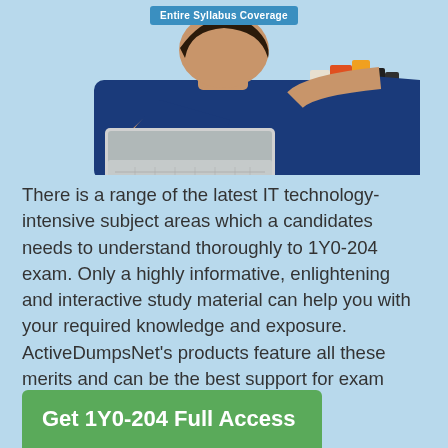[Figure (photo): Student in blue shirt holding a laptop and books, shown from torso only, on a light blue background]
There is a range of the latest IT technology-intensive subject areas which a candidates needs to understand thoroughly to 1Y0-204 exam. Only a highly informative, enlightening and interactive study material can help you with your required knowledge and exposure. ActiveDumpsNet's products feature all these merits and can be the best support for exam preparation.
Get 1Y0-204 Full Access